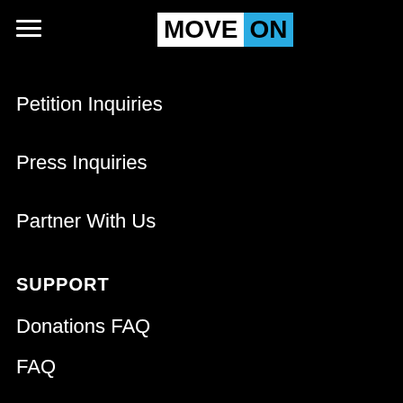[Figure (logo): MoveOn logo with MOVE in white box and ON in blue box]
Petition Inquiries
Press Inquiries
Partner With Us
SUPPORT
Donations FAQ
FAQ
Privacy Policy & ToS
Accessibility
GET INVOLVED
Passionate about an issue?